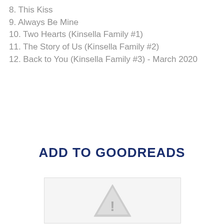8. This Kiss
9. Always Be Mine
10. Two Hearts (Kinsella Family #1)
11. The Story of Us (Kinsella Family #2)
12. Back to You (Kinsella Family #3) - March 2020
ADD TO GOODREADS
[Figure (other): Broken image / warning icon placeholder inside a light gray bordered box]